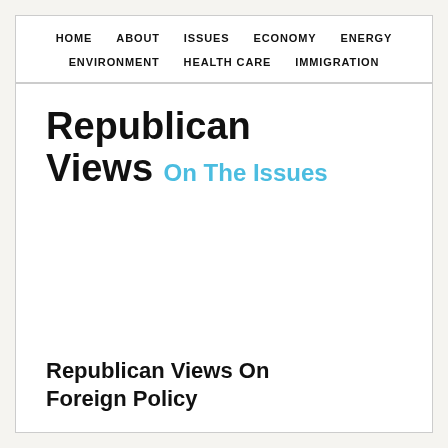HOME   ABOUT   ISSUES   ECONOMY   ENERGY   ENVIRONMENT   HEALTH CARE   IMMIGRATION
Republican Views On The Issues
Republican Views On Foreign Policy